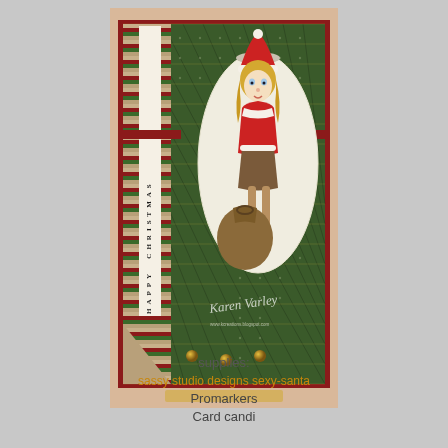[Figure (photo): Handmade Christmas card featuring a sexy Santa girl illustration in an oval frame, with green plaid background, striped panel, HAPPY CHRISTMAS vertical text strip, red ribbon accents, gold brads, and watermark 'Karen Varley']
supplies:
sassy studio designs sexy-santa
Promarkers
Card candi